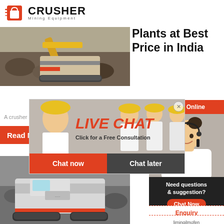[Figure (logo): Crusher Mining Equipment logo with red shopping bag icon and bold CRUSHER text]
[Figure (photo): Crusher/excavator machine at a mining site with rocks and dirt]
Plants at Best Price in India
A crusher is
[Figure (photo): Live Chat popup overlay showing workers with yellow hard hats, a woman figure, LIVE CHAT text, Click for a Free Consultation, Chat now and Chat later buttons]
[Figure (photo): 24Hrs Online banner with customer service woman wearing headset]
[Figure (infographic): Need questions & suggestion box with Chat Now button, Enquiry link, and limingjlmofen@sina.com email]
[Figure (photo): Crusher machine at mining site, bottom image]